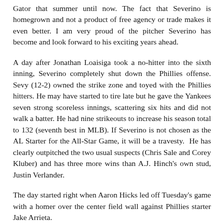Gator that summer until now. The fact that Severino is homegrown and not a product of free agency or trade makes it even better. I am very proud of the pitcher Severino has become and look forward to his exciting years ahead.
A day after Jonathan Loaisiga took a no-hitter into the sixth inning, Severino completely shut down the Phillies offense. Sevy (12-2) owned the strike zone and toyed with the Phillies hitters. He may have started to tire late but he gave the Yankees seven strong scoreless innings, scattering six hits and did not walk a batter. He had nine strikeouts to increase his season total to 132 (seventh best in MLB). If Severino is not chosen as the AL Starter for the All-Star Game, it will be a travesty. He has clearly outpitched the two usual suspects (Chris Sale and Corey Kluber) and has three more wins than A.J. Hinch's own stud, Justin Verlander.
The day started right when Aaron Hicks led off Tuesday's game with a homer over the center field wall against Phillies starter Jake Arrieta.